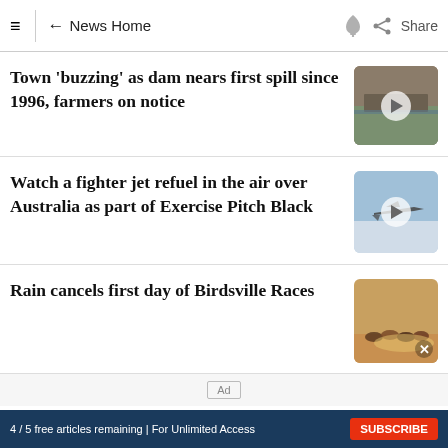≡  ← News Home   🔔  Share
Town 'buzzing' as dam nears first spill since 1996, farmers on notice
[Figure (photo): Thumbnail image of a dam with water]
Watch a fighter jet refuel in the air over Australia as part of Exercise Pitch Black
[Figure (photo): Thumbnail image of a fighter jet in the air]
Rain cancels first day of Birdsville Races
[Figure (photo): Thumbnail image of horse racing at Birdsville]
4 / 5 free articles remaining | For Unlimited Access   SUBSCRIBE